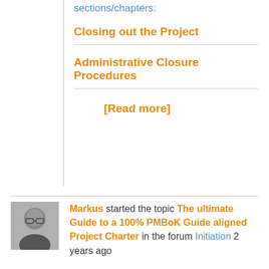sections/chapters:
Closing out the Project
Administrative Closure Procedures
[Read more]
Markus started the topic The ultimate Guide to a 100% PMBoK Guide aligned Project Charter in the forum Initiation 2 years ago